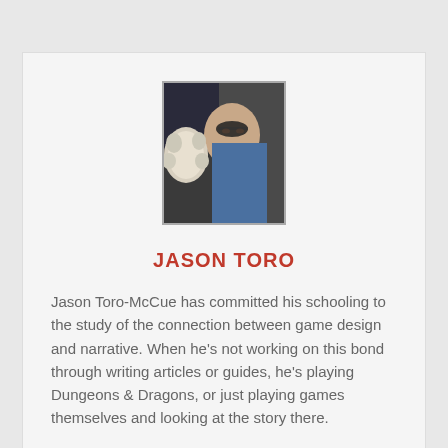[Figure (photo): Profile photo of Jason Toro-McCue holding a small fluffy dog, wearing glasses]
JASON TORO
Jason Toro-McCue has committed his schooling to the study of the connection between game design and narrative. When he's not working on this bond through writing articles or guides, he's playing Dungeons & Dragons, or just playing games themselves and looking at the story there.